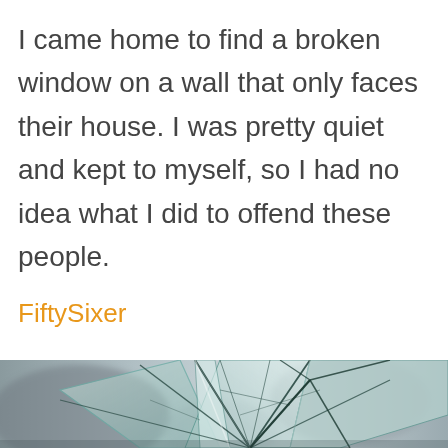I came home to find a broken window on a wall that only faces their house. I was pretty quiet and kept to myself, so I had no idea what I did to offend these people.
FiftySixer
[Figure (photo): Close-up photograph of a broken glass window with radiating crack lines and shards, showing sharp fracture patterns against a blurred grey background.]